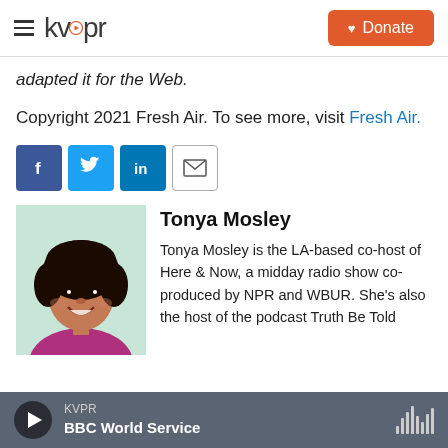kvpr | Donate
adapted it for the Web.
Copyright 2021 Fresh Air. To see more, visit Fresh Air.
[Figure (infographic): Social share buttons: Facebook (blue), Twitter (blue), LinkedIn (blue), Email (outlined)]
[Figure (photo): Photo of Tonya Mosley, a smiling woman with natural curly hair wearing a magenta/pink blazer, against a light background]
Tonya Mosley
Tonya Mosley is the LA-based co-host of Here & Now, a midday radio show co-produced by NPR and WBUR. She's also the host of the podcast Truth Be Told
KVPR BBC World Service